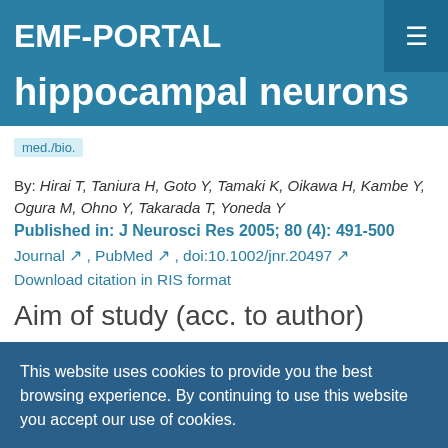EMF-PORTAL
hippocampal neurons
med./bio.
By: Hirai T, Taniura H, Goto Y, Tamaki K, Oikawa H, Kambe Y, Ogura M, Ohno Y, Takarada T, Yoneda Y
Published in: J Neurosci Res 2005; 80 (4): 491-500
Journal ↗ , PubMed ↗ , doi:10.1002/jnr.20497 ↗
Download citation in RIS format
Aim of study (acc. to author)
To evaluate possible protective properties of repetitive daily exposure to static magnetic fields against the neurotoxicity of sustained blockade of N-methyl D-
This website uses cookies to provide you the best browsing experience. By continuing to use this website you accept our use of cookies.